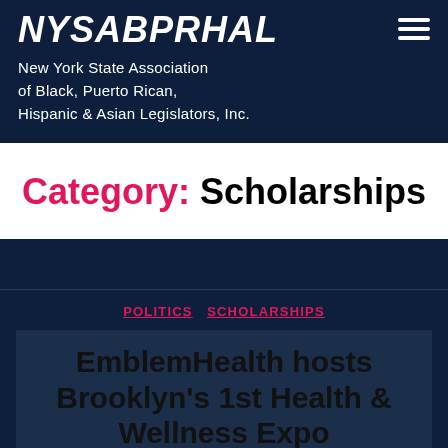NYSABPRHAL
New York State Association of Black, Puerto Rican, Hispanic & Asian Legislators, Inc.
Category: Scholarships
POLITICS   SCHOLARSHIPS
EmblemHealth hosts Brooklyn's 1st Health & Wellness Expo